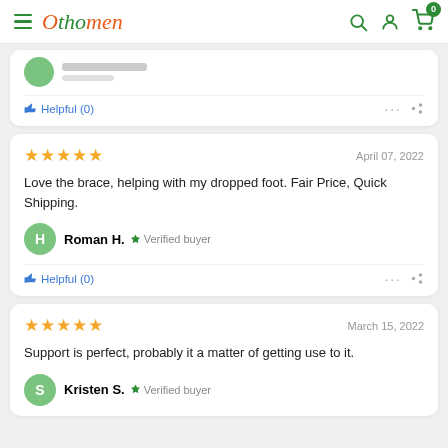Othomen — navigation header with search, account, and cart icons
Helpful (0)
[Figure (other): Five gold stars rating]
April 07, 2022
Love the brace, helping with my dropped foot. Fair Price, Quick Shipping.
Roman H. Verified buyer
Helpful (0)
[Figure (other): Five gold stars rating]
March 15, 2022
Support is perfect, probably it a matter of getting use to it.
Kristen S. Verified buyer